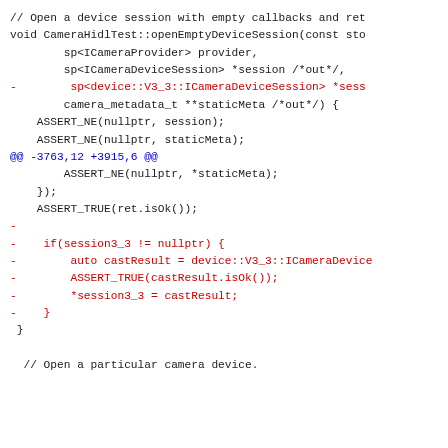Code diff showing openEmptyDeviceSession function with removed lines for session3_3 handling